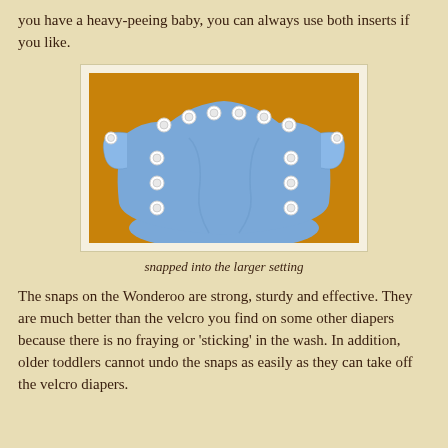you have a heavy-peeing baby, you can always use both inserts if you like.
[Figure (photo): A blue cloth diaper with white snaps, shown snapped into the larger setting, laid flat on an orange surface. The diaper has multiple snap buttons along the waistband and on the front panel.]
snapped into the larger setting
The snaps on the Wonderoo are strong, sturdy and effective. They are much better than the velcro you find on some other diapers because there is no fraying or 'sticking' in the wash. In addition, older toddlers cannot undo the snaps as easily as they can take off the velcro diapers.